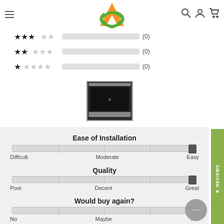[Figure (logo): AOA brand logo with orange triangle and green circle/swoosh]
[Figure (other): Star rating bars: 3-star row with empty bar (0), 2-star row with empty bar (0), 1-star row with empty bar (0)]
[Figure (photo): Small product image, appears to be an oven or appliance with dark interior]
Ease of Installation
[Figure (other): Slider bar for Ease of Installation with thumb at far right (Easy end). Labels: Difficult, Moderate, Easy]
Quality
[Figure (other): Slider bar for Quality with thumb at far right (Great end). Labels: Poor, Decent, Great]
Would buy again?
[Figure (other): Slider bar for Would buy again with thumb at far right (Yes end). Labels: No, Maybe, Yes]